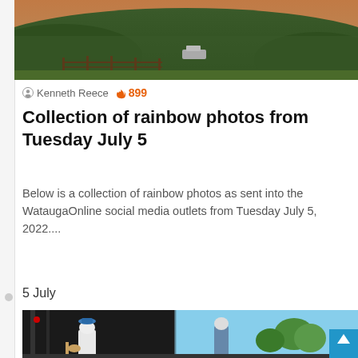[Figure (photo): Outdoor rural scene with green hills, trees, a wooden fence, and a vehicle, taken at dusk with orange sky]
Kenneth Reece 🔥 899
Collection of rainbow photos from Tuesday July 5
Below is a collection of rainbow photos as sent into the WataugaOnline social media outlets from Tuesday July 5, 2022....
Read More »
5 July
[Figure (photo): Concert stage performance with musicians playing guitars, one wearing a blue hat and white jacket, blue sky in background]